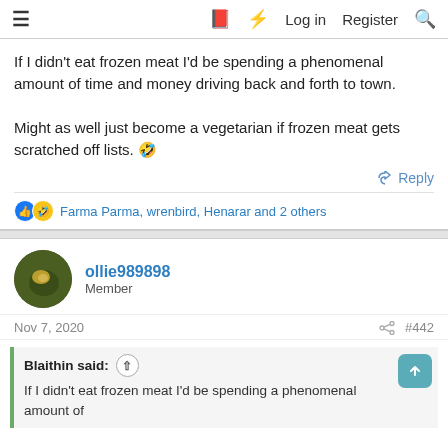≡  🔖  ⚡  Log in  Register  🔍
If I didn't eat frozen meat I'd be spending a phenomenal amount of time and money driving back and forth to town.

Might as well just become a vegetarian if frozen meat gets scratched off lists. 🤣
↩ Reply
👍 🤣 Farma Parma, wrenbird, Henarar and 2 others
ollie989898
Member
Nov 7, 2020   #442
Blaithin said: ↑
If I didn't eat frozen meat I'd be spending a phenomenal amount of